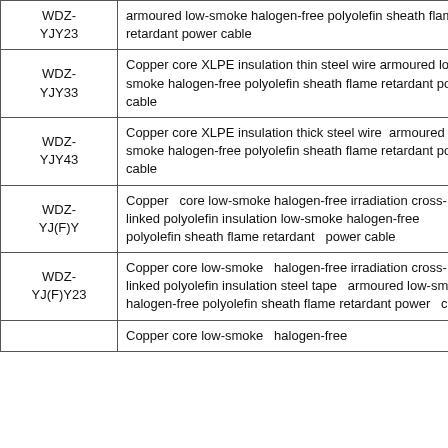| Code | Description |
| --- | --- |
| WDZ-YJY23 | armoured low-smoke halogen-free polyolefin sheath flame retardant power cable |
| WDZ-YJY33 | Copper core XLPE insulation thin steel wire armoured low-smoke halogen-free polyolefin sheath flame retardant power cable |
| WDZ-YJY43 | Copper core XLPE insulation thick steel wire  armoured low-smoke halogen-free polyolefin sheath flame retardant power cable |
| WDZ-YJ(F)Y | Copper   core low-smoke halogen-free irradiation cross-linked polyolefin insulation low-smoke halogen-free polyolefin sheath flame retardant   power cable |
| WDZ-YJ(F)Y23 | Copper core low-smoke   halogen-free irradiation cross-linked polyolefin insulation steel tape   armoured low-smoke halogen-free polyolefin sheath flame retardant power   cable |
|  | Copper core low-smoke   halogen-free |